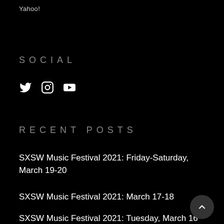Yahoo!
SOCIAL
[Figure (infographic): Social media icons: Twitter bird, Instagram camera, YouTube play button]
RECENT POSTS
SXSW Music Festival 2021: Friday-Saturday, March 19-20
SXSW Music Festival 2021: March 17-18
SXSW Music Festival 2021: Tuesday, March 16